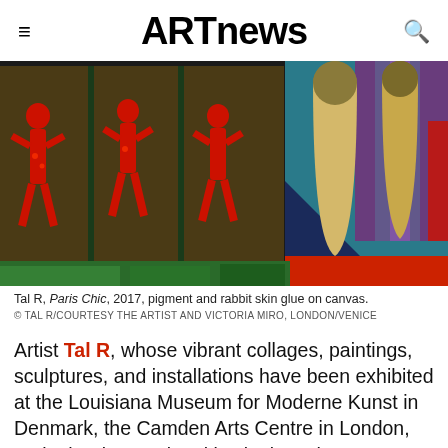ARTnews
[Figure (photo): Tal R, Paris Chic, 2017, painting with red figurative figures on left side against dark background, and elongated yellow-beige forms on right against teal/blue background with purple striped area]
Tal R, Paris Chic, 2017, pigment and rabbit skin glue on canvas.
© TAL R/COURTESY THE ARTIST AND VICTORIA MIRO, LONDON/VENICE
Artist Tal R, whose vibrant collages, paintings, sculptures, and installations have been exhibited at the Louisiana Museum for Moderne Kunst in Denmark, the Camden Arts Centre in London, and other international institutions, has won an injunction against two watch designers who intended to